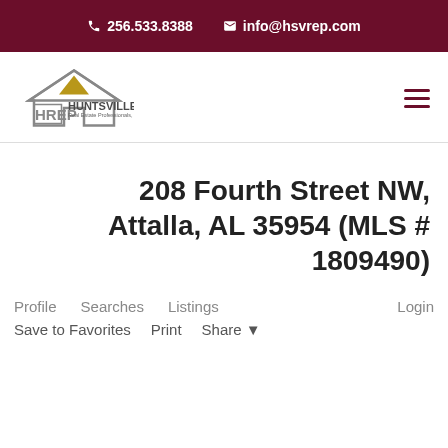256.533.8388   info@hsvrep.com
[Figure (logo): HREP Huntsville Real Estate Professionals, LLC logo with house icon]
208 Fourth Street NW, Attalla, AL 35954 (MLS # 1809490)
Profile   Searches   Listings   Login
Save to Favorites   Print   Share